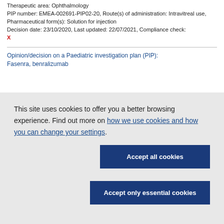Therapeutic area: Ophthalmology PIP number: EMEA-002691-PIP02-20, Route(s) of administration: Intravitreal use, Pharmaceutical form(s): Solution for injection Decision date: 23/10/2020, Last updated: 22/07/2021, Compliance check: X
Opinion/decision on a Paediatric investigation plan (PIP): Fasenra, benralizumab
This site uses cookies to offer you a better browsing experience. Find out more on how we use cookies and how you can change your settings.
Accept all cookies
Accept only essential cookies